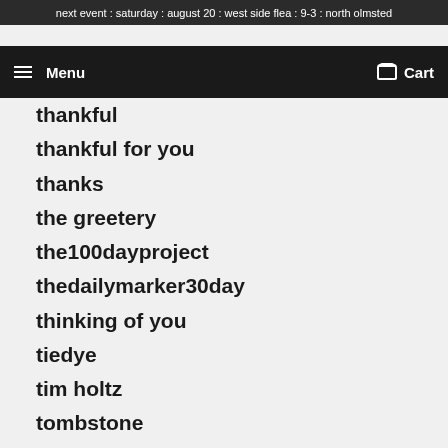next event : saturday : august 20 : west side flea : 9-3 : north olmsted
thankful
thankful for you
thanks
the greetery
the100dayproject
thedailymarker30day
thinking of you
tiedye
tim holtz
tombstone
tone on tone
tone-on-tone
tools
torn edge
transfer gel